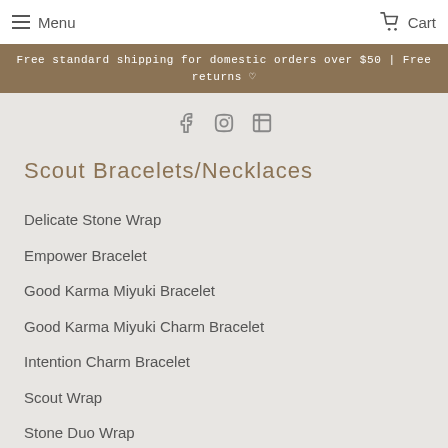Menu | Cart
Free standard shipping for domestic orders over $50 | Free returns ♡
Scout Bracelets/Necklaces
Delicate Stone Wrap
Empower Bracelet
Good Karma Miyuki Bracelet
Good Karma Miyuki Charm Bracelet
Intention Charm Bracelet
Scout Wrap
Stone Duo Wrap
Stone Stacking Bracelet
Stone Point Necklace